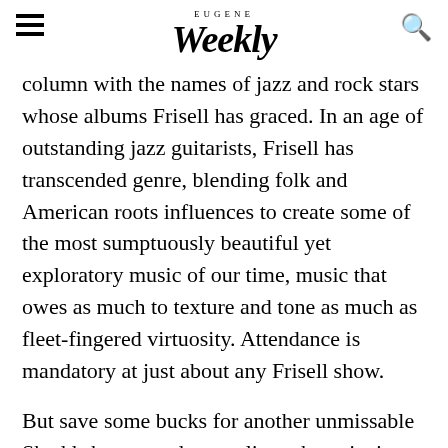Eugene Weekly
column with the names of jazz and rock stars whose albums Frisell has graced. In an age of outstanding jazz guitarists, Frisell has transcended genre, blending folk and American roots influences to create some of the most sumptuously beautiful yet exploratory music of our time, music that owes as much to texture and tone as much as fleet-fingered virtuosity. Attendance is mandatory at just about any Frisell show.
But save some bucks for another unmissable Shedd show two days earlier, when pianist extraordinaire Brad Mehldau leads his current